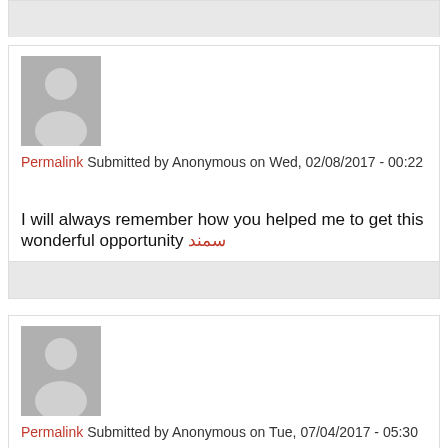[Figure (other): Gray bar at top of page (partial comment block)]
Permalink Submitted by Anonymous on Wed, 02/08/2017 - 00:22
I will always remember how you helped me to get this wonderful opportunity سمند
Permalink Submitted by Anonymous on Tue, 07/04/2017 - 05:30
yeezy350find Thanks for sharing such a valuable informatio